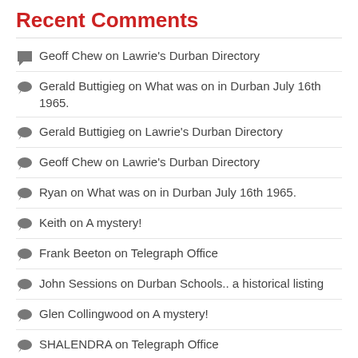Recent Comments
Geoff Chew on Lawrie's Durban Directory
Gerald Buttigieg on What was on in Durban July 16th 1965.
Gerald Buttigieg on Lawrie's Durban Directory
Geoff Chew on Lawrie's Durban Directory
Ryan on What was on in Durban July 16th 1965.
Keith on A mystery!
Frank Beeton on Telegraph Office
John Sessions on Durban Schools.. a historical listing
Glen Collingwood on A mystery!
SHALENDRA on Telegraph Office
Support FAD…